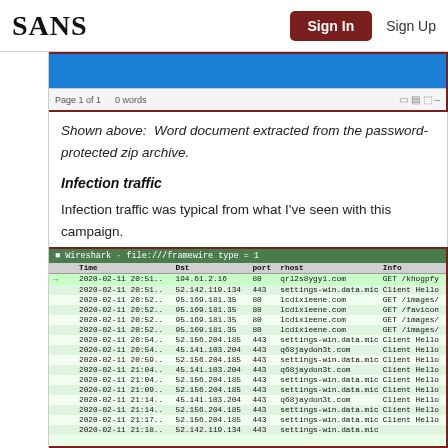SANS  Sign In  Sign Up
[Figure (screenshot): Screenshot of a blank Word document extracted from a password-protected zip archive. Shows a blue title bar and a status bar reading 'Page 1 of 1  0 words'.]
Shown above:  Word document extracted from the password-protected zip archive.
Infection traffic
Infection traffic was typical from what I've seen with this campaign.
[Figure (screenshot): Wireshark-style network traffic capture table showing infection traffic from 2020-02-11. Columns: Time, Dst, port, rhost, info. Entries include connections to qrl2s8ygy1.com, settings-win.data.microsoft., lcdixieene.com, q68jaydon3t.com on ports 80 and 443 with GET requests and Client Hello messages.]